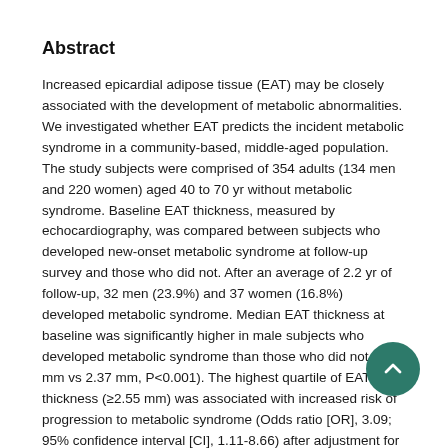Abstract
Increased epicardial adipose tissue (EAT) may be closely associated with the development of metabolic abnormalities. We investigated whether EAT predicts the incident metabolic syndrome in a community-based, middle-aged population. The study subjects were comprised of 354 adults (134 men and 220 women) aged 40 to 70 yr without metabolic syndrome. Baseline EAT thickness, measured by echocardiography, was compared between subjects who developed new-onset metabolic syndrome at follow-up survey and those who did not. After an average of 2.2 yr of follow-up, 32 men (23.9%) and 37 women (16.8%) developed metabolic syndrome. Median EAT thickness at baseline was significantly higher in male subjects who developed metabolic syndrome than those who did not (1.52 mm vs 2.37 mm, P<0.001). The highest quartile of EAT thickness (≥2.55 mm) was associated with increased risk of progression to metabolic syndrome (Odds ratio [OR], 3.09; 95% confidence interval [CI], 1.11-8.66) after adjustment for age, smoking, alcohol intake, regular exercise, total energy intake, high sensitive C-reactive protein and homeostasis model assessment